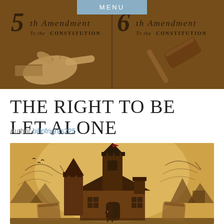MENU
[Figure (illustration): Header banner illustration showing '5th Amendment To the Constitution' on the left with a pointing hand, and '6th Amendment To the Constitution' on the right with a gavel, rendered in sepia/brown tones]
THE RIGHT TO BE LET ALONE
Author billofrights225
[Figure (illustration): Sepia-toned illustration of a castle-like house with a flag on the tower, a person standing in front, surrounded by stylized landscape elements, representing the concept of home privacy and the right to be let alone]